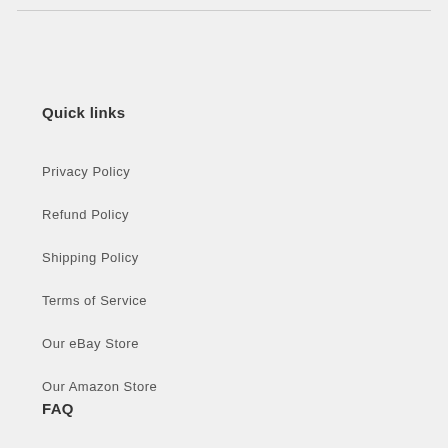Quick links
Privacy Policy
Refund Policy
Shipping Policy
Terms of Service
Our eBay Store
Our Amazon Store
FAQ